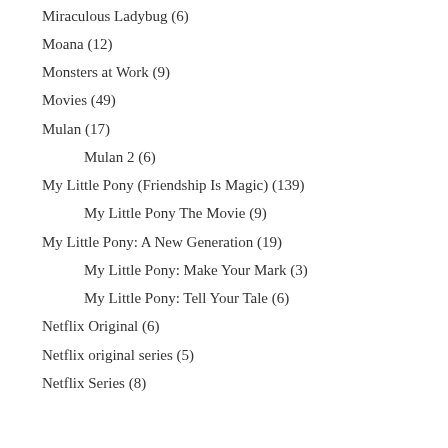Miraculous Ladybug (6)
Moana (12)
Monsters at Work (9)
Movies (49)
Mulan (17)
Mulan 2 (6)
My Little Pony (Friendship Is Magic) (139)
My Little Pony The Movie (9)
My Little Pony: A New Generation (19)
My Little Pony: Make Your Mark (3)
My Little Pony: Tell Your Tale (6)
Netflix Original (6)
Netflix original series (5)
Netflix Series (8)